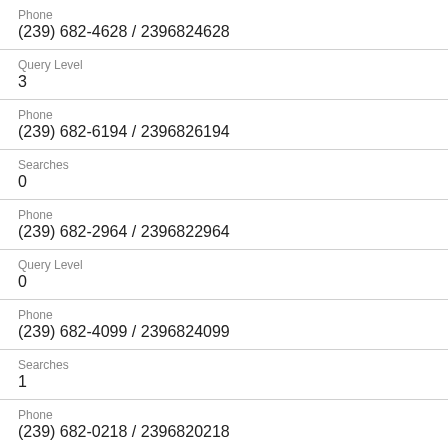Phone
(239) 682-4628 / 2396824628
Query Level
3
Phone
(239) 682-6194 / 2396826194
Searches
0
Phone
(239) 682-2964 / 2396822964
Query Level
0
Phone
(239) 682-4099 / 2396824099
Searches
1
Phone
(239) 682-0218 / 2396820218